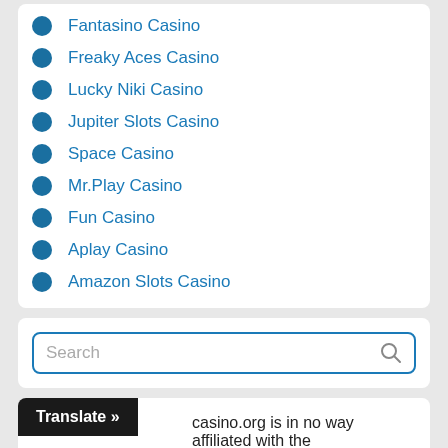Fantasino Casino
Freaky Aces Casino
Lucky Niki Casino
Jupiter Slots Casino
Space Casino
Mr.Play Casino
Fun Casino
Aplay Casino
Amazon Slots Casino
Search
casino.org is in no way affiliated with the any of its subsidiaries. The Net...